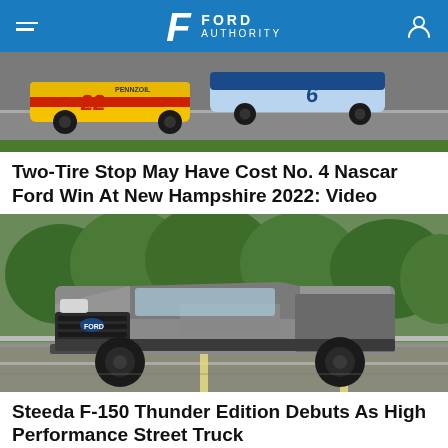Ford Authority
[Figure (photo): Two NASCAR Ford race cars on a race track — car #22 in yellow/red Pennzoil livery and car #6 in blue/white livery racing side by side.]
Two-Tire Stop May Have Cost No. 4 Nascar Ford Win At New Hampshire 2022: Video
[Figure (photo): A silver Ford F-150 pickup truck driving on a road surrounded by trees, shot from a low angle showing the front and side of the truck.]
Steeda F-150 Thunder Edition Debuts As High Performance Street Truck